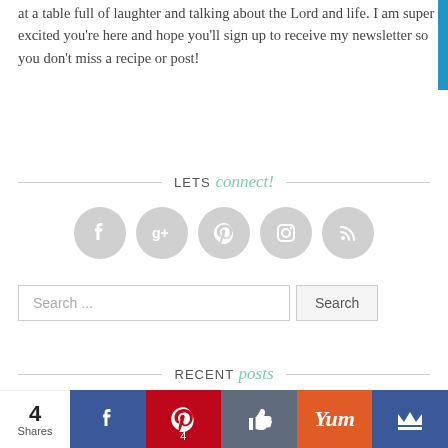at a table full of laughter and talking about the Lord and life. I am super excited you're here and hope you'll sign up to receive my newsletter so you don't miss a recipe or post!
LETS connect!
[Figure (infographic): Row of 5 grey circular social media icons: Facebook, Google+, Pinterest, Instagram, RSS]
[Figure (screenshot): Search bar with placeholder 'Search ...' and a Search button]
RECENT posts
[Figure (photo): Thumbnail image for 'How do you prepare for loss?' post]
How do you prepare for loss?
July 17, 2019
[Figure (infographic): Bottom share bar with: 4 Shares, Facebook, Pinterest (4), Like, Yum, Crown buttons]